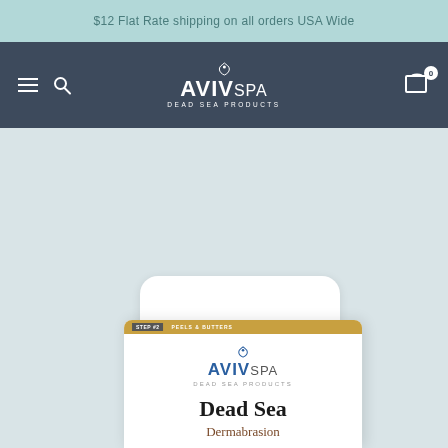$12 Flat Rate shipping on all orders USA Wide
[Figure (logo): AvivSpa Dead Sea Products logo in navigation bar with hamburger menu, search icon, and cart icon with badge 0]
[Figure (photo): White cylindrical jar of Aviv Spa Dead Sea Dermabrasion product on light blue-gray background, showing the label with AvivSpa Dead Sea Products branding and Dead Sea Dermabrasion text]